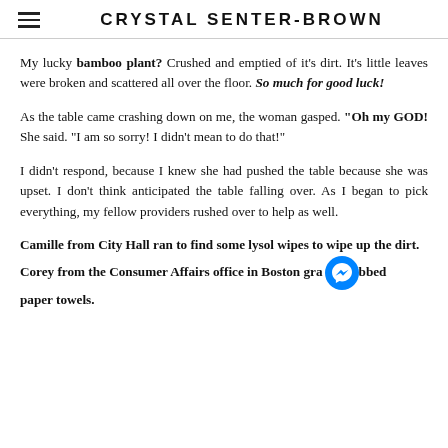CRYSTAL SENTER-BROWN
My lucky bamboo plant? Crushed and emptied of it's dirt. It's little leaves were broken and scattered all over the floor. So much for good luck!
As the table came crashing down on me, the woman gasped. "Oh my GOD! She said. "I am so sorry! I didn't mean to do that!"
I didn't respond, because I knew she had pushed the table because she was upset. I don't think anticipated the table falling over. As I began to pick everything, my fellow providers rushed over to help as well.
Camille from City Hall ran to find some lysol wipes to wipe up the dirt.
Corey from the Consumer Affairs office in Boston grabbed paper towels.